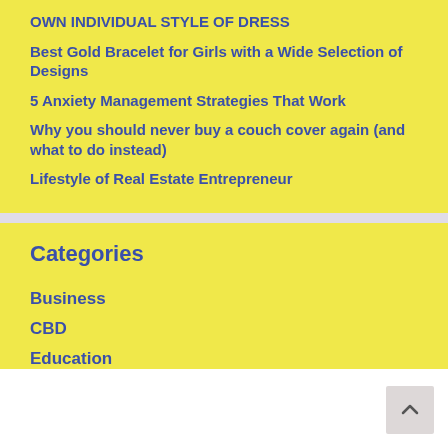OWN INDIVIDUAL STYLE OF DRESS
Best Gold Bracelet for Girls with a Wide Selection of Designs
5 Anxiety Management Strategies That Work
Why you should never buy a couch cover again (and what to do instead)
Lifestyle of Real Estate Entrepreneur
Categories
Business
CBD
Education